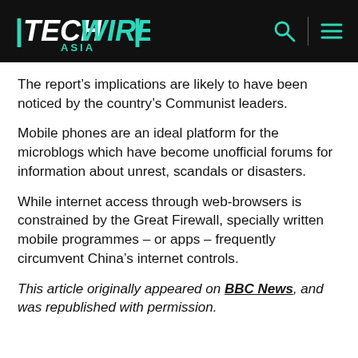TECHWIRE ASIA
The report’s implications are likely to have been noticed by the country’s Communist leaders.
Mobile phones are an ideal platform for the microblogs which have become unofficial forums for information about unrest, scandals or disasters.
While internet access through web-browsers is constrained by the Great Firewall, specially written mobile programmes – or apps – frequently circumvent China’s internet controls.
This article originally appeared on BBC News, and was republished with permission.